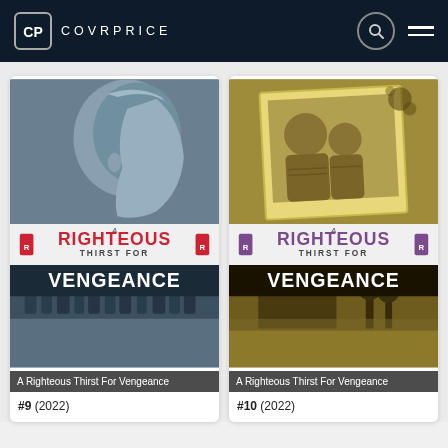COVRPRICE
[Figure (illustration): Comic book cover for A Righteous Thirst For Vengeance #9 (2022) — grayscale-blue toned cover showing a man in profile at top, and a crowd scene at bottom, with red and white title text.]
A Righteous Thirst For Vengeance
#9 (2022)
[Figure (illustration): Comic book cover for A Righteous Thirst For Vengeance #10 (2022) — golden/yellow-olive toned cover showing two figures in a photograph and a house scene, with purple and white title text.]
A Righteous Thirst For Vengeance
#10 (2022)